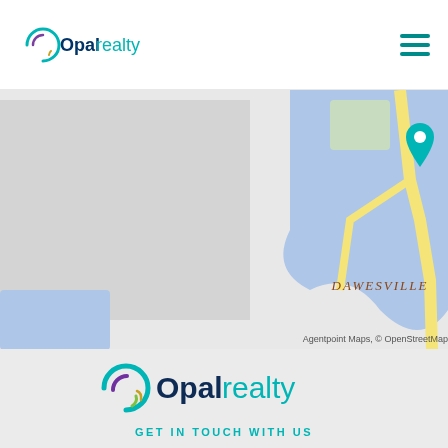Opalrealty (logo and navigation hamburger)
[Figure (map): Street map showing Dawesville area with a teal location pin marker, road network including route 1, and surrounding water bodies in blue. Attribution: Agentpoint Maps, © OpenStreetMap]
[Figure (logo): Opalrealty large logo with circular swirl icon in teal/purple/gold gradient and bold teal text 'Opalrealty']
GET IN TOUCH WITH US